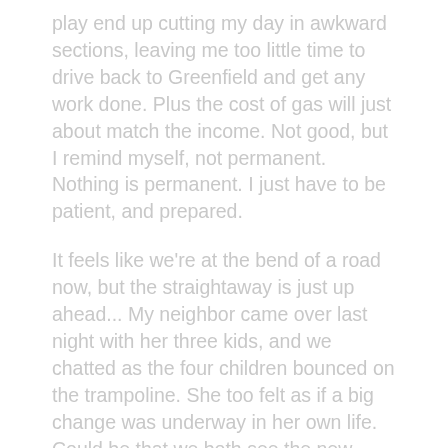play end up cutting my day in awkward sections, leaving me too little time to drive back to Greenfield and get any work done. Plus the cost of gas will just about match the income. Not good, but I remind myself, not permanent. Nothing is permanent. I just have to be patient, and prepared.
It feels like we're at the bend of a road now, but the straightaway is just up ahead... My neighbor came over last night with her three kids, and we chatted as the four children bounced on the trampoline. She too felt as if a big change was underway in her own life. Could be that we both see the new house that's going up in between us as somehow symbolic – it certainly is for me, but there's more to it than the changing landscape. She and her family have put their house on the market and hope to move. That means change for us, too. Two new families will soon be living next door. The dynamic of the neighborhood is yet to